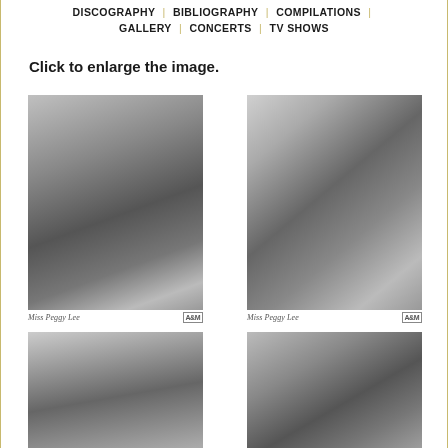DISCOGRAPHY | BIBLIOGRAPHY | COMPILATIONS | GALLERY | CONCERTS | TV SHOWS
Click to enlarge the image.
[Figure (photo): Black and white promotional photo of Miss Peggy Lee, full upper body shot with signature and A&M Records logo]
[Figure (photo): Black and white promotional headshot of Miss Peggy Lee with signature and A&M Records logo]
[Figure (photo): Black and white close-up photo of Miss Peggy Lee, partial face visible]
[Figure (photo): Black and white photo of Miss Peggy Lee performing, with microphone]